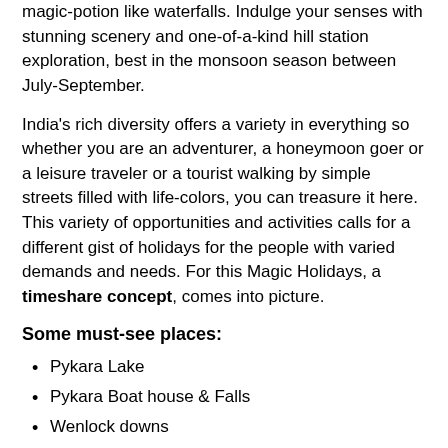magic-potion like waterfalls. Indulge your senses with stunning scenery and one-of-a-kind hill station exploration, best in the monsoon season between July-September.
India's rich diversity offers a variety in everything so whether you are an adventurer, a honeymoon goer or a leisure traveler or a tourist walking by simple streets filled with life-colors, you can treasure it here. This variety of opportunities and activities calls for a different gist of holidays for the people with varied demands and needs. For this Magic Holidays, a timeshare concept, comes into picture.
Some must-see places:
Pykara Lake
Pykara Boat house & Falls
Wenlock downs
Pine forests
Botanical garden
Rose garden
Ooty Lake